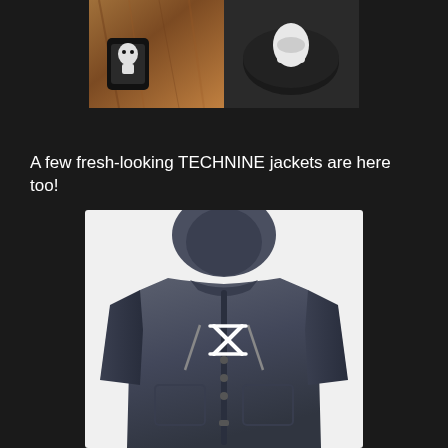[Figure (photo): Photo showing two items side by side on a wooden circular board: a black label/tag item on the left, and a black hockey puck on the right with a white glove/hand]
A few fresh-looking TECHNINE jackets are here too!
[Figure (photo): A dark navy/charcoal TECHNINE branded hooded jacket displayed against a white background, with a white logo on the chest]